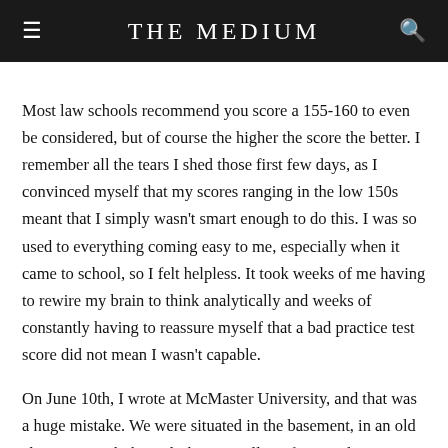THE MEDIUM
Most law schools recommend you score a 155-160 to even be considered, but of course the higher the score the better. I remember all the tears I shed those first few days, as I convinced myself that my scores ranging in the low 150s meant that I simply wasn't smart enough to do this. I was so used to everything coming easy to me, especially when it came to school, so I felt helpless. It took weeks of me having to rewire my brain to think analytically and weeks of constantly having to reassure myself that a bad practice test score did not mean I wasn't capable.
On June 10th, I wrote at McMaster University, and that was a huge mistake. We were situated in the basement, in an old classroom with those desks you pull out from under your seat. Not only was I shivering and wiping away my runny nose the